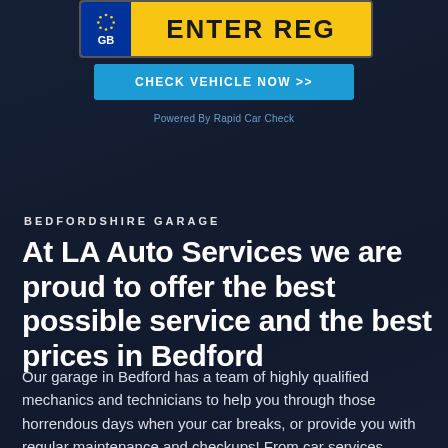[Figure (infographic): UK vehicle registration plate widget showing 'ENTER REG' with GB blue panel and EU stars on the left, yellow plate background on the right]
[Figure (infographic): Blue 'CHECK VEHICLE NOW >>' button below the registration plate widget]
Powered By Rapid Car Check
BEDFORDSHIRE GARAGE
At LA Auto Services we are proud to offer the best possible service and the best prices in Bedford
Our garage in Bedford has a team of highly qualified mechanics and technicians to help you through those horrendous days when your car breaks, or provide you with regular maintenance and checkups! From car services, accident repairs and mots our friendly and trustworthy